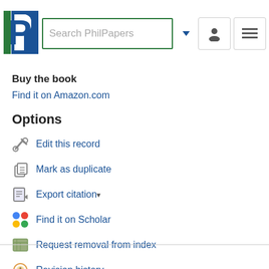PhilPapers – Search PhilPapers
Buy the book
Find it on Amazon.com
Options
Edit this record
Mark as duplicate
Export citation
Find it on Scholar
Request removal from index
Revision history